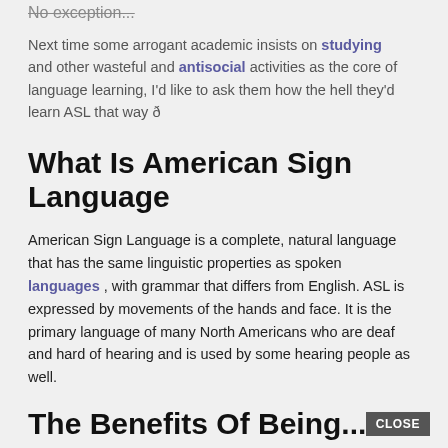No exception...
Next time some arrogant academic insists on studying and other wasteful and antisocial activities as the core of language learning, I'd like to ask them how the hell they'd learn ASL that way ð
What Is American Sign Language
American Sign Language is a complete, natural language that has the same linguistic properties as spoken languages , with grammar that differs from English. ASL is expressed by movements of the hands and face. It is the primary language of many North Americans who are deaf and hard of hearing and is used by some hearing people as well.
The Benefits Of Being...